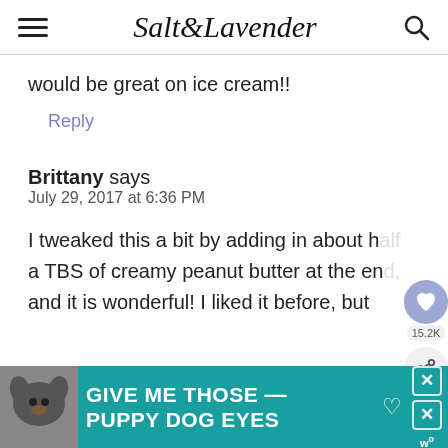Salt & Lavender
would be great on ice cream!!
Reply
Brittany says
July 29, 2017 at 6:36 PM
I tweaked this a bit by adding in about half a TBS of creamy peanut butter at the end and it is wonderful! I liked it before, but
[Figure (other): Advertisement banner reading GIVE ME THOSE PUPPY DOG EYES with dog image]